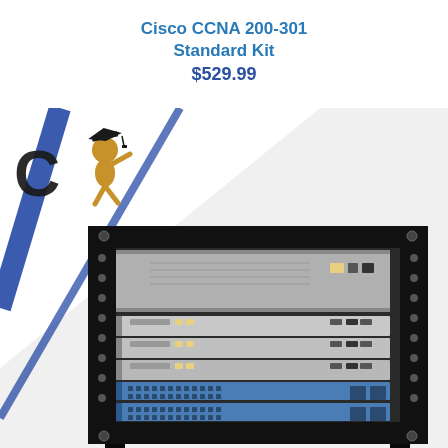Cisco CCNA 200-301
Standard Kit
$529.99
[Figure (photo): A Cisco CCNA 200-301 Standard Kit product photo showing a black server rack with multiple Cisco networking devices stacked inside — routers and switches including blue Cisco Catalyst switches at the bottom and grey routers above. A logo in the upper left area shows a graduation-cap figure ('C' letter with a person) with a blue diagonal stripe across the background.]